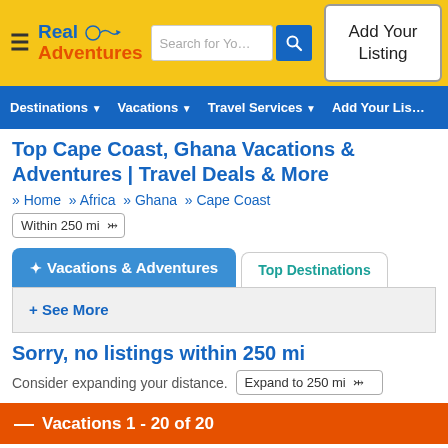Real Adventures – Search for Your Adventure – Add Your Listing
Destinations ▾  Vacations ▾  Travel Services ▾  Add Your Lis…
Top Cape Coast, Ghana Vacations & Adventures | Travel Deals & More
» Home  » Africa  » Ghana  » Cape Coast
Within 250 mi ▾
✦ Vacations & Adventures   Top Destinations
+ See More
Sorry, no listings within 250 mi
Consider expanding your distance.  Expand to 250 mi ▾
— Vacations 1 - 20 of 20